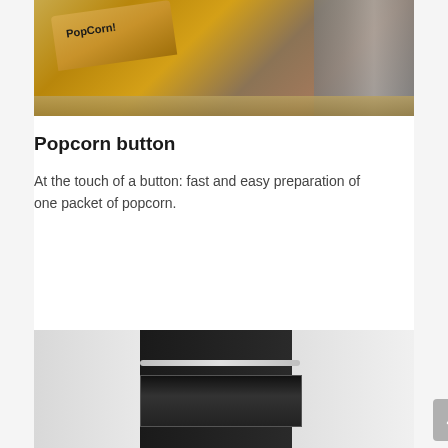[Figure (photo): A microwave bag of popcorn sitting inside a microwave oven, viewed from the side with the door open. The metallic interior and rack are visible.]
Popcorn button
At the touch of a button: fast and easy preparation of one packet of popcorn.
[Figure (photo): A built-in wall oven installed in white cabinetry, with a dark front panel, digital display, and a chrome handle. A hand is partially visible at the bottom.]